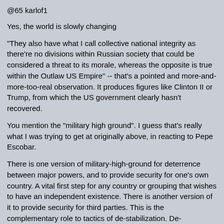@65 karlof1
Yes, the world is slowly changing
"They also have what I call collective national integrity as there're no divisions within Russian society that could be considered a threat to its morale, whereas the opposite is true within the Outlaw US Empire" -- that's a pointed and more-and-more-too-real observation. It produces figures like Clinton II or Trump, from which the US government clearly hasn't recovered.
You mention the "military high ground". I guess that's really what I was trying to get at originally above, in reacting to Pepe Escobar.
There is one version of military-high-ground for deterrence between major powers, and to provide security for one's own country. A vital first step for any country or grouping that wishes to have an independent existence. There is another version of it to provide security for third parties. This is the complementary role to tactics of de-stabilization. De-stabilization is now done in either with, or under cover of, non-military means. So I think it means that both military high-tech, and bulk combat-power, have to be complemented by elements of old-fashioned alliance building. Some combination of material/industrial benefits, personal, cultural, institutional, religious, financial, and diplomatic networking. Similar to the much abused "soft